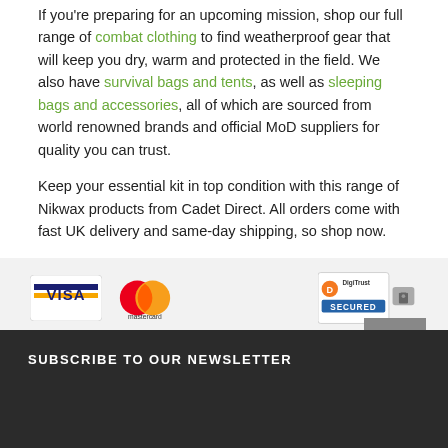If you're preparing for an upcoming mission, shop our full range of combat clothing to find weatherproof gear that will keep you dry, warm and protected in the field. We also have survival bags and tents, as well as sleeping bags and accessories, all of which are sourced from world renowned brands and official MoD suppliers for quality you can trust.
Keep your essential kit in top condition with this range of Nikwax products from Cadet Direct. All orders come with fast UK delivery and same-day shipping, so shop now.
[Figure (logo): Payment method logos: Visa and Mastercard, plus DigiCert Secured badge]
SUBSCRIBE TO OUR NEWSLETTER